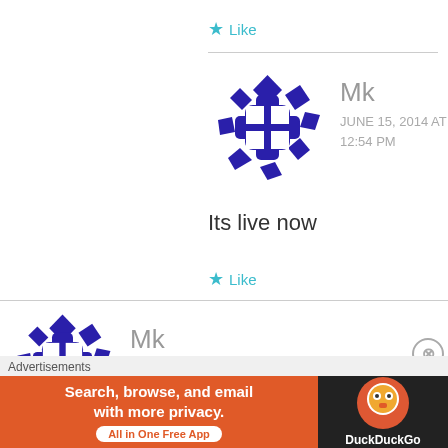★ Like
[Figure (illustration): Blue/dark-blue geometric avatar icon (checkered sphere pattern)]
Mk
JUNE 15, 2014 AT 12:54 PM
Its live now
★ Like
[Figure (illustration): Blue/dark-blue geometric avatar icon (checkered sphere pattern), partially cropped]
Mk
Advertisements
[Figure (screenshot): DuckDuckGo advertisement banner: 'Search, browse, and email with more privacy. All in One Free App' with DuckDuckGo logo on dark background]